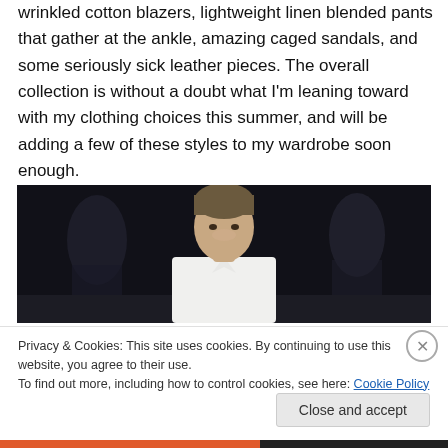wrinkled cotton blazers, lightweight linen blended pants that gather at the ankle, amazing caged sandals, and some seriously sick leather pieces. The overall collection is without a doubt what I'm leaning toward with my clothing choices this summer, and will be adding a few of these styles to my wardrobe soon enough.
[Figure (photo): Fashion runway photo of a young male model with short brown hair, wearing a white collared shirt, walking on a runway with a dark background and other figures behind him.]
Privacy & Cookies: This site uses cookies. By continuing to use this website, you agree to their use.
To find out more, including how to control cookies, see here: Cookie Policy
Close and accept